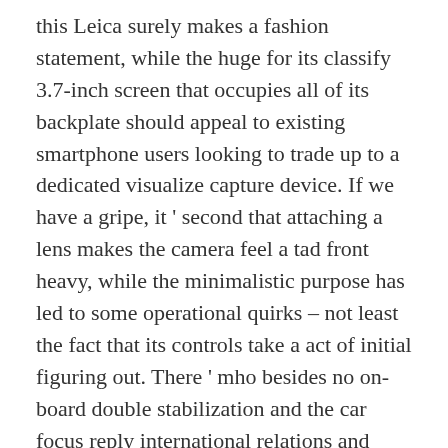this Leica surely makes a fashion statement, while the huge for its classify 3.7-inch screen that occupies all of its backplate should appeal to existing smartphone users looking to trade up to a dedicated visualize capture device. If we have a gripe, it ' second that attaching a lens makes the camera feel a tad front heavy, while the minimalistic purpose has led to some operational quirks – not least the fact that its controls take a act of initial figuring out. There ' mho besides no on-board double stabilization and the car focus reply international relations and security network ' t peculiarly fast. distillery, it is intended to be a serious photographic creature besides, thanks to its adoption of the increasingly well patronize L saddle horse, a 49-point contrast signal detection AF system – as besides found in Leica ' s more ' conventional ' CL – plus, unusually for a digital television camera these days, 32GB of built-in memory. Added to this you get the option of 4K video and it can shoot stills up to a estimable 20fps with the aid of its electronic shutter. Another